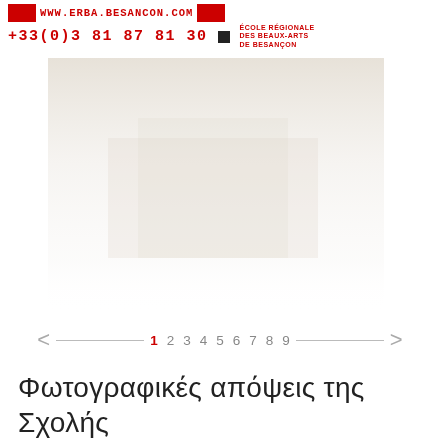WWW.ERBA.BESANCON.COM  +33(0)3 81 87 81 30  ÉCOLE RÉGIONALE DES BEAUX-ARTS DE BESANÇON
[Figure (photo): Faded/washed out photograph of a building exterior, mostly white]
< 1 2 3 4 5 6 7 8 9 >
Φωτογραφικές απόψεις της Σχολής
[Figure (photo): Exterior photograph of a modern building with angular dark roof, blue sky with clouds, trees visible on the left]